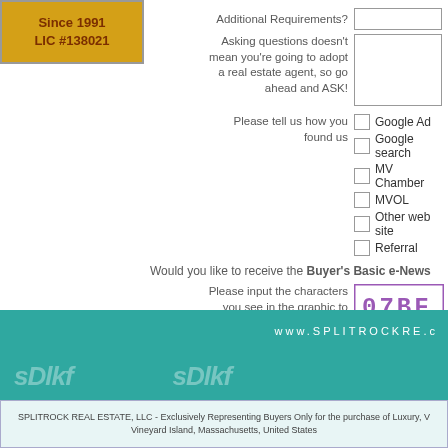Since 1991
LIC #138021
Additional Requirements?
Asking questions doesn't mean you're going to adopt a real estate agent, so go ahead and ASK!
Please tell us how you found us
Google Ad
Google search
MV Chamber
MVOL
Other web site
Referral
Would you like to receive the Buyer's Basic e-News
Please input the characters you see in the graphic to the right
[Figure (other): CAPTCHA image showing code 07BF in purple LCD-style font on white background with purple border]
www.SPLITROCKRE.c
SPLITROCK REAL ESTATE, LLC - Exclusively Representing Buyers Only for the purchase of Luxury, Vineyard Island, Massachusetts, United States